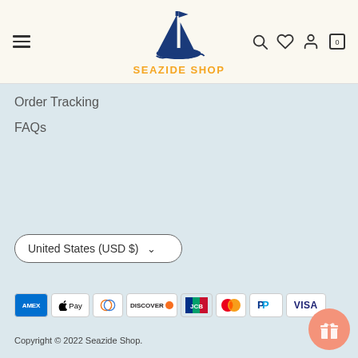[Figure (logo): Seazide Shop logo with dark blue sailboat and orange text 'SEAZIDE SHOP']
Order Tracking
FAQs
United States (USD $)
[Figure (other): Payment method icons: American Express, Apple Pay, Diners Club, Discover, JCB, Mastercard, PayPal, Visa]
Copyright © 2022 Seazide Shop.